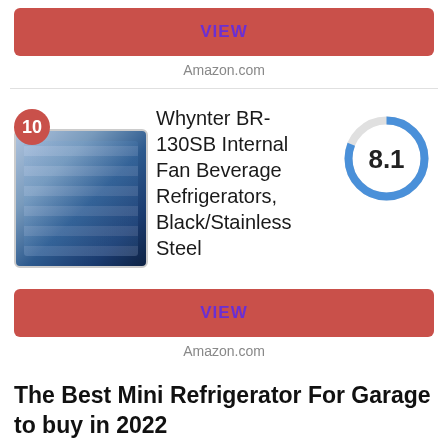VIEW
Amazon.com
10 Whynter BR-130SB Internal Fan Beverage Refrigerators, Black/Stainless Steel
[Figure (donut-chart): Score 8.1]
VIEW
Amazon.com
The Best Mini Refrigerator For Garage to buy in 2022
[Figure (photo): Mini refrigerator product photo at bottom of page]